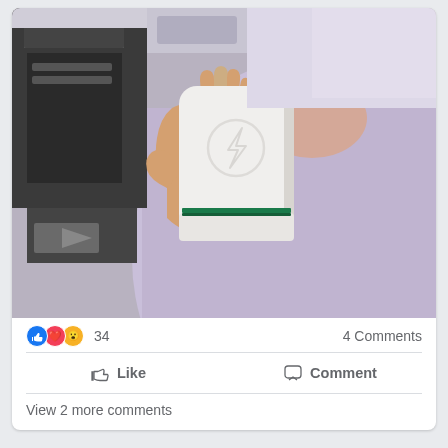[Figure (photo): A person in a lavender/light purple sweatshirt holding up a white rectangular device with rounded corners. The device has an embossed lightning bolt logo on front and a green stripe near the bottom. Background shows office/lab equipment.]
34   4 Comments
Like   Comment
View 2 more comments